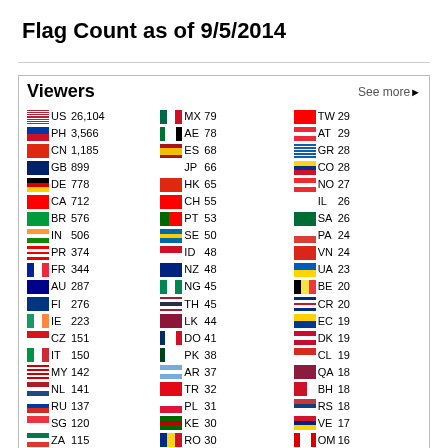Flag Count as of 9/5/2014
| Flag | CC | Count | Flag | CC | Count | Flag | CC | Count |
| --- | --- | --- | --- | --- | --- | --- | --- | --- |
| US | 26,104 | MX | 79 | TW | 29 |
| PH | 3,566 | AE | 78 | AT | 29 |
| CN | 1,185 | ES | 68 | GR | 28 |
| GB | 899 | JP | 66 | CO | 28 |
| DE | 778 | HK | 65 | NO | 27 |
| CA | 712 | CH | 55 | IL | 26 |
| BR | 576 | PT | 53 | SA | 26 |
| IN | 506 | SE | 50 | PA | 24 |
| PR | 374 | ID | 48 | VN | 24 |
| FR | 344 | NZ | 48 | UA | 23 |
| AU | 287 | NG | 45 | BE | 20 |
| FI | 276 | TH | 45 | CR | 20 |
| IE | 223 | LK | 44 | EC | 19 |
| CZ | 151 | DO | 41 | DK | 19 |
| IT | 150 | PK | 38 | CL | 19 |
| MY | 142 | AR | 37 | QA | 18 |
| NL | 141 | TR | 32 | BH | 18 |
| RU | 137 | PL | 31 | RS | 18 |
| SG | 120 | KE | 30 | VE | 17 |
| ZA | 115 | RO | 30 | OM | 16 |
Pageviews: 63,162